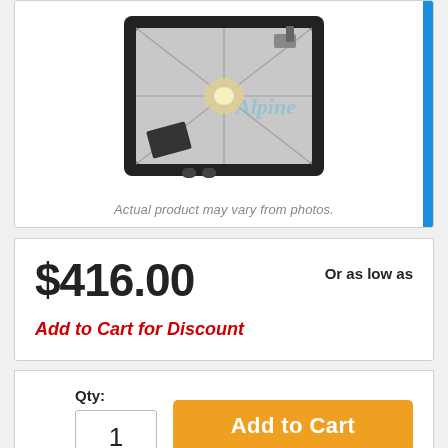[Figure (photo): Product photo of a lighting fixture (flood light or grow light) viewed from above, showing internal reflector and components. Watermark text 'Alpine' visible in light blue.]
Actual product may vary from photos.
$416.00
Or as low as
Add to Cart for Discount
Qty: 1
Add to Cart